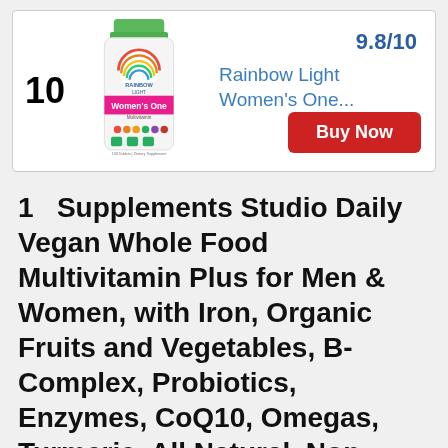[Figure (photo): Rainbow Light Women's One Multivitamin bottle with green cap, rainbow circle logo, colorful fruits and vegetables imagery]
Rainbow Light Women's One...
9.8/10
Buy Now
1   Supplements Studio Daily Vegan Whole Food Multivitamin Plus for Men & Women, with Iron, Organic Fruits and Vegetables, B-Complex, Probiotics, Enzymes, CoQ10, Omegas, Turmeric, All Natural, Non-GMO